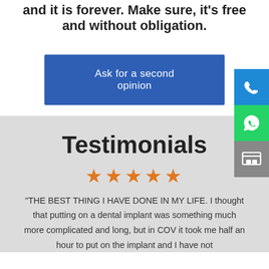and it is forever. Make sure, it's free and without obligation.
Ask for a second opinion
Testimonials
[Figure (infographic): Five orange star rating icons]
"THE BEST THING I HAVE DONE IN MY LIFE. I thought that putting on a dental implant was something much more complicated and long, but in COV it took me half an hour to put on the implant and I have not